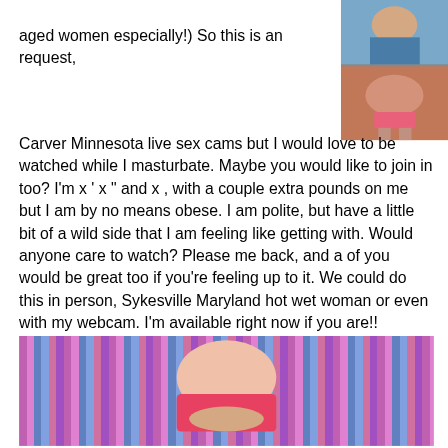aged women especially!) So this is an request,
[Figure (photo): Two photos: top shows a woman in a blue top, bottom shows a person in a pink/red outfit from behind]
Carver Minnesota live sex cams but I would love to be watched while I masturbate. Maybe you would like to join in too? I'm x ' x " and x , with a couple extra pounds on me but I am by no means obese. I am polite, but have a little bit of a wild side that I am feeling like getting with. Would anyone care to watch? Please me back, and a of you would be great too if you're feeling up to it. We could do this in person, Sykesville Maryland hot wet woman or even with my webcam. I'm available right now if you are!!
Real Guy Seeks Real Girl. Hot woman seeking free bbw sex local horny single moms in Ellenville New York .
Really want to make out wih a lovely lady.
[Figure (photo): Photo of a woman in a red/pink top against a striped colorful background]